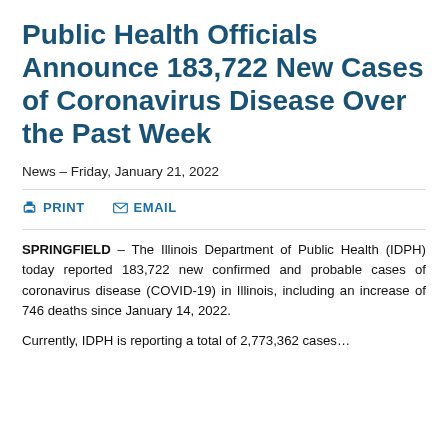Public Health Officials Announce 183,722 New Cases of Coronavirus Disease Over the Past Week
News – Friday, January 21, 2022
PRINT   EMAIL
SPRINGFIELD – The Illinois Department of Public Health (IDPH) today reported 183,722 new confirmed and probable cases of coronavirus disease (COVID-19) in Illinois, including an increase of 746 deaths since January 14, 2022.
Currently, IDPH is reporting a total of 2,773,362 cases...